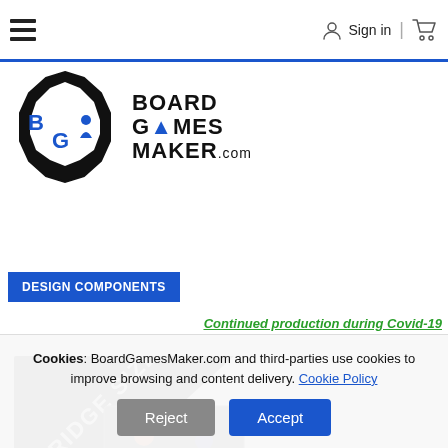BoardGamesMaker.com navigation bar with hamburger menu, Sign in, and cart
[Figure (logo): Board Games Maker logo — hexagonal gear icon with BG initials and text BOARD GAMES MAKER.com]
DESIGN COMPONENTS
Continued production during Covid-19
[Figure (photo): Bridge size playing cards product photo showing a fanned deck on a game box with colorful game tokens]
Cookies: BoardGamesMaker.com and third-parties use cookies to improve browsing and content delivery. Cookie Policy
Reject
Accept